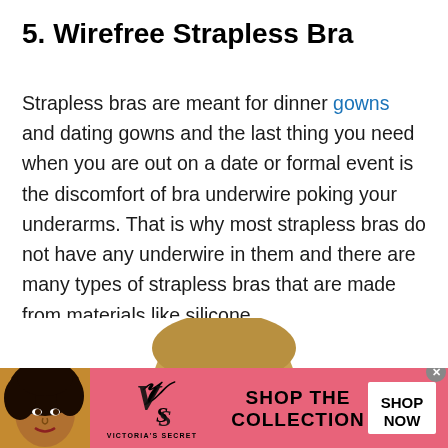5. Wirefree Strapless Bra
Strapless bras are meant for dinner gowns and dating gowns and the last thing you need when you are out on a date or formal event is the discomfort of bra underwire poking your underarms. That is why most strapless bras do not have any underwire in them and there are many types of strapless bras that are made from materials like silicone.
[Figure (photo): Partial view of a blonde woman's head, cropped at the top of the page content area, showing hair and top of face]
[Figure (infographic): Victoria's Secret advertisement banner with pink background, showing a model with curly dark hair on left, VS logo and 'VICTORIA'S SECRET' text in center, 'SHOP THE COLLECTION' text, and a white 'SHOP NOW' button on the right. A close/dismiss X button in a grey circle appears at top right.]